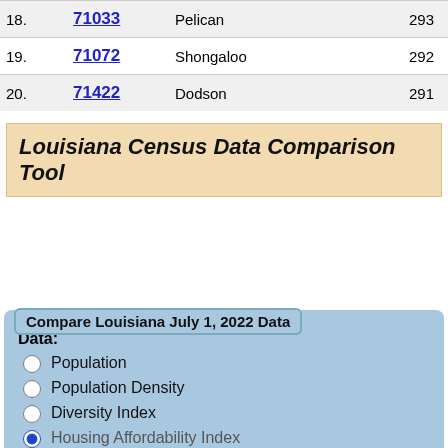| # | ZIP | City | Score |
| --- | --- | --- | --- |
| 18. | 71033 | Pelican | 293 |
| 19. | 71072 | Shongaloo | 292 |
| 20. | 71422 | Dodson | 291 |
Louisiana Census Data Comparison Tool
Compare Louisiana July 1, 2022 Data
Data:
Population
Population Density
Diversity Index
Housing Affordability Index
Wealth Index